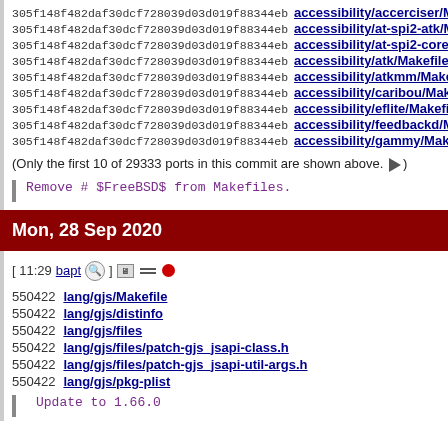305f148f482daf30dcf728039d03d019f88344eb accessibility/accerciser/Makefile
305f148f482daf30dcf728039d03d019f88344eb accessibility/at-spi2-atk/Makefile
305f148f482daf30dcf728039d03d019f88344eb accessibility/at-spi2-core/Makefile
305f148f482daf30dcf728039d03d019f88344eb accessibility/atk/Makefile
305f148f482daf30dcf728039d03d019f88344eb accessibility/atkmm/Makefile
305f148f482daf30dcf728039d03d019f88344eb accessibility/caribou/Makefile
305f148f482daf30dcf728039d03d019f88344eb accessibility/eflite/Makefile
305f148f482daf30dcf728039d03d019f88344eb accessibility/feedbackd/Makefile
305f148f482daf30dcf728039d03d019f88344eb accessibility/gammy/Makefile
(Only the first 10 of 29333 ports in this commit are shown above.)
Remove # $FreeBSD$ from Makefiles.
Mon, 28 Sep 2020
[ 11:29 bapt ] Update to 1.66.0
550422 lang/gjs/Makefile
550422 lang/gjs/distinfo
550422 lang/gjs/files
550422 lang/gjs/files/patch-gjs_jsapi-class.h
550422 lang/gjs/files/patch-gjs_jsapi-util-args.h
550422 lang/gjs/pkg-plist
Update to 1.66.0